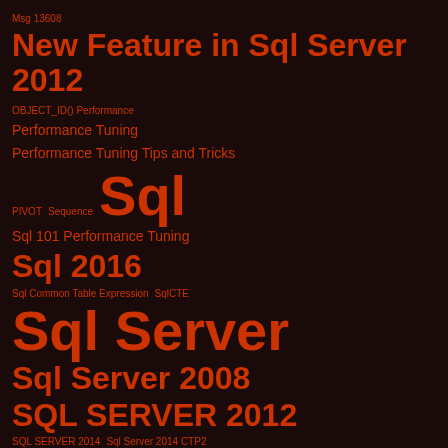Msg 13608
New Feature in Sql Server 2012
OBJECT_ID() Performance
Performance Tuning
Performance Tuning Tips and Tricks
PIVOT  Sequence  Sql
Sql 101 Performance Tuning
Sql 2016
Sql Common Table Expression  SqlCTE
Sql Server
Sql Server 2008
SQL SERVER 2012
SQL SERVER 2014  Sql Server 2014 CTP2
Sql Server 2016
Sql Server Performance Tips and Tricks